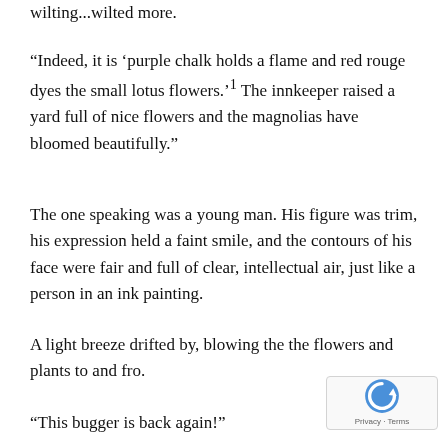wilting...wilted more.
“Indeed, it is ‘purple chalk holds a flame and red rouge dyes the small lotus flowers.’¹ The innkeeper raised a yard full of nice flowers and the magnolias have bloomed beautifully.”
The one speaking was a young man. His figure was trim, his expression held a faint smile, and the contours of his face were fair and full of clear, intellectual air, just like a person in an ink painting.
A light breeze drifted by, blowing the the flowers and plants to and fro.
“This bugger is back again!”